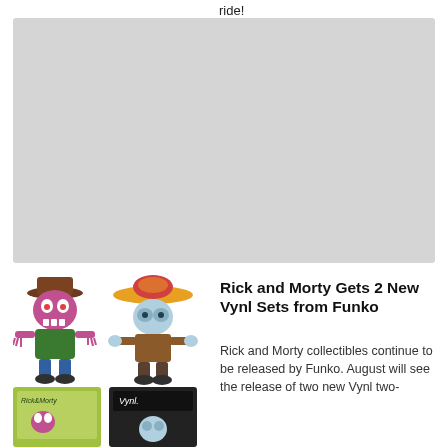ride!
[Figure (photo): Large gray placeholder image block]
[Figure (illustration): Rick and Morty Funko Vynl figures - a monster with cowboy hat and Rick with sombrero, plus two boxed product shots below]
Rick and Morty Gets 2 New Vynl Sets from Funko
Rick and Morty collectibles continue to be released by Funko. August will see the release of two new Vynl two-packs, sold at the same time.